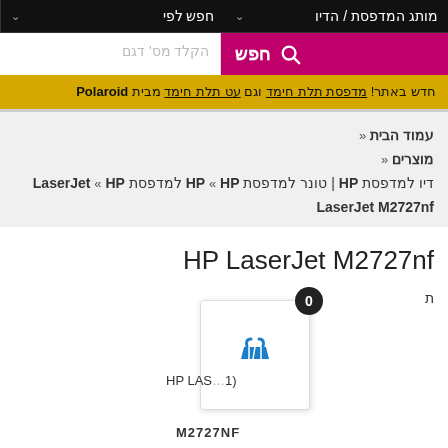חפש לפי | מותג המדפסת / הדיו
חפש | הקלד מס' דגם
חדש באתר! מדפסת תלת חימד וגם עט תלת חימד מבית Polaroid
עמוד הבית »
מוצרים »
דיו למדפסת HP | טונר למדפסת HP « HP למדפסת LaserJet « HP LaserJet M2727nf
HP LaserJet M2727nf
ת